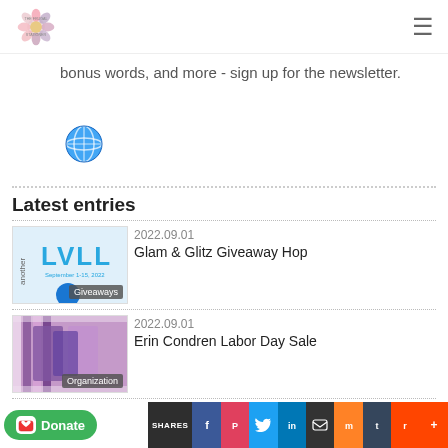The Frugal Stationer
bonus words, and more - sign up for the newsletter.
[Figure (illustration): Blue globe/world icon]
Latest entries
[Figure (photo): Glam & Glitz Giveaway Hop thumbnail with Giveaways badge]
2022.09.01
Glam & Glitz Giveaway Hop
[Figure (photo): Erin Condren planner thumbnail with Organization badge]
2022.09.01
Erin Condren Labor Day Sale
2022.09.01